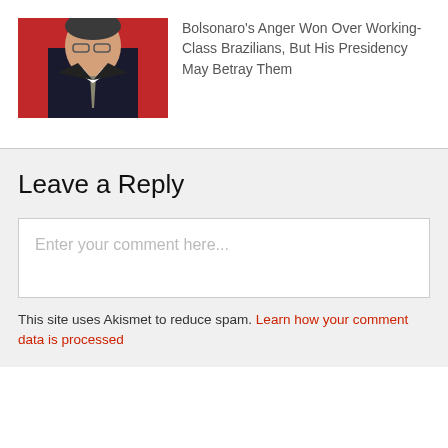[Figure (photo): Photo of Jair Bolsonaro in a dark suit with tie, standing against a red background]
Bolsonaro's Anger Won Over Working-Class Brazilians, But His Presidency May Betray Them
Leave a Reply
Enter your comment here...
This site uses Akismet to reduce spam. Learn how your comment data is processed